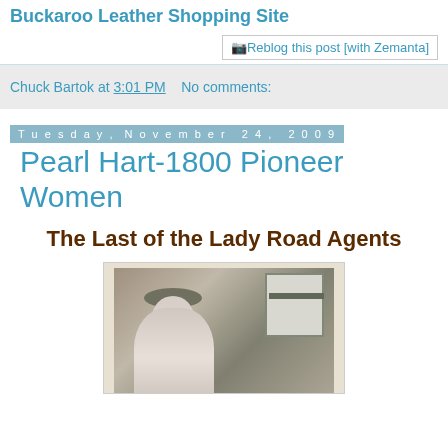Buckaroo Leather Shopping Site
[Figure (other): Reblog this post [with Zemanta] button/link]
Chuck Bartok at 3:01 PM   No comments:
Tuesday, November 24, 2009
Pearl Hart-1800 Pioneer Women
The Last of the Lady Road Agents
[Figure (photo): Black and white historical photograph of a woman wearing a hat, standing in front of a window or doorway]